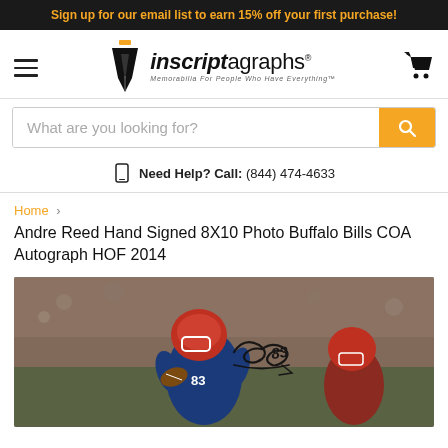Sign up for our email list to earn 15% off your first purchase!
[Figure (logo): Inscriptagraphs logo with pen nib icon and tagline 'Memorabilia For People Who Have Everything']
What are you looking for?
Need Help? Call: (844) 474-4633
Home > Andre Reed Hand Signed 8X10 Photo Buffalo Bills COA Autograph HOF 2014
Andre Reed Hand Signed 8X10 Photo Buffalo Bills COA Autograph HOF 2014
[Figure (photo): Andre Reed #83 in Buffalo Bills uniform catching a football, with autograph signature on the photo]